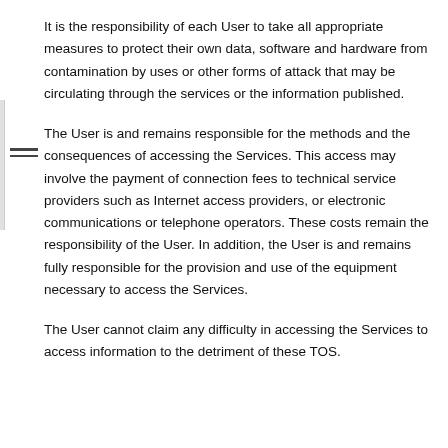It is the responsibility of each User to take all appropriate measures to protect their own data, software and hardware from contamination by uses or other forms of attack that may be circulating through the services or the information published.
The User is and remains responsible for the methods and the consequences of accessing the Services. This access may involve the payment of connection fees to technical service providers such as Internet access providers, or electronic communications or telephone operators. These costs remain the responsibility of the User. In addition, the User is and remains fully responsible for the provision and use of the equipment necessary to access the Services.
The User cannot claim any difficulty in accessing the Services to access information to the detriment of these TOS.